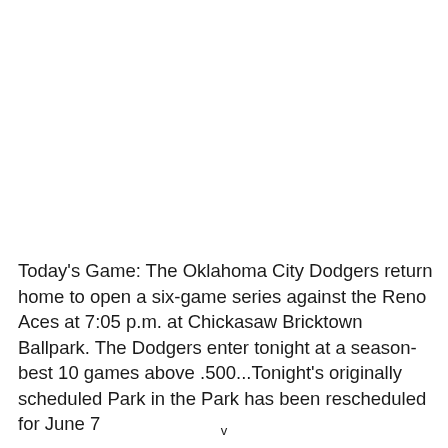Today's Game: The Oklahoma City Dodgers return home to open a six-game series against the Reno Aces at 7:05 p.m. at Chickasaw Bricktown Ballpark. The Dodgers enter tonight at a season-best 10 games above .500...Tonight's originally scheduled Park in the Park has been rescheduled for June 7
v